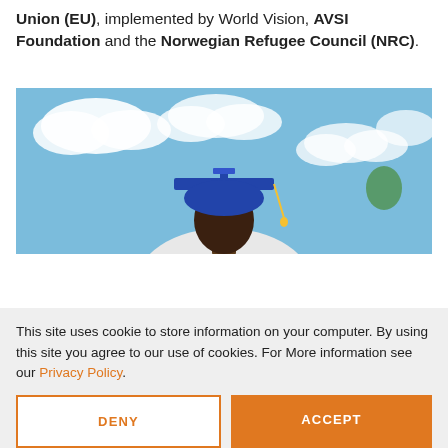Union (EU), implemented by World Vision, AVSI Foundation and the Norwegian Refugee Council (NRC).
[Figure (photo): A person wearing a blue graduation cap viewed from below against a blue sky with white clouds.]
This site uses cookie to store information on your computer. By using this site you agree to our use of cookies. For More information see our Privacy Policy.